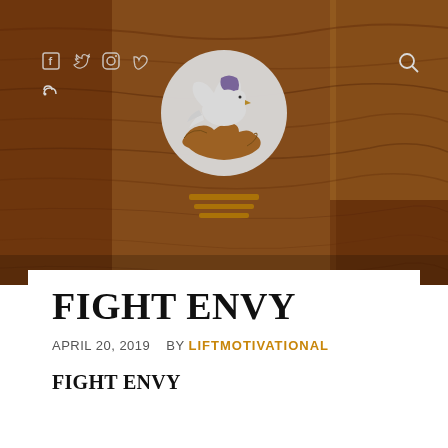[Figure (photo): Website header with wood grain background texture, social media icons (Facebook, Twitter, Instagram, Vimeo, RSS) on the left, search icon on the right, and a circular logo in the center featuring a white dove over hands with purple accent, with golden tagline lines below]
FIGHT ENVY
APRIL 20, 2019    BY LIFTMOTIVATIONAL
FIGHT ENVY